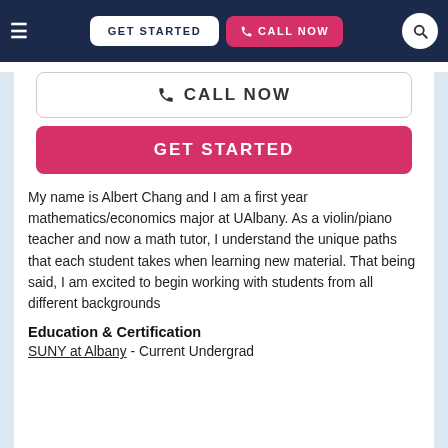[Figure (screenshot): Navigation bar with hamburger menu, GET STARTED button, CALL NOW button in pink, and search icon]
[Figure (screenshot): Large CALL NOW button with phone icon, outlined in gray]
[Figure (screenshot): Large pink GET STARTED button]
My name is Albert Chang and I am a first year mathematics/economics major at UAlbany. As a violin/piano teacher and now a math tutor, I understand the unique paths that each student takes when learning new material. That being said, I am excited to begin working with students from all different backgrounds
Education & Certification
SUNY at Albany - Current Undergrad